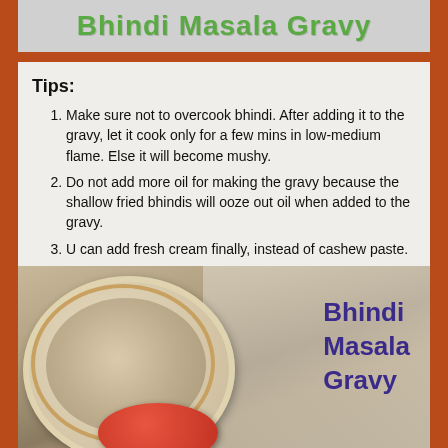[Figure (photo): Header image with 'Bhindi Masala Gravy' text on a light grey background with decorative handwritten green font]
Tips:
Make sure not to overcook bhindi. After adding it to the gravy, let it cook only for a few mins in low-medium flame. Else it will become mushy.
Do not add more oil for making the gravy because the shallow fried bhindis will ooze out oil when added to the gravy.
U can add fresh cream finally, instead of cashew paste.
[Figure (photo): Photo of Bhindi Masala Gravy dish with a plate of roti/chapati and a red bowl, with 'Bhindi Masala Gravy' text in purple handwritten font on the right side]